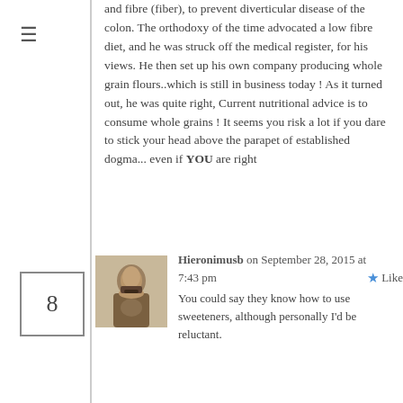and fibre (fiber), to prevent diverticular disease of the colon. The orthodoxy of the time advocated a low fibre diet, and he was struck off the medical register, for his views. He then set up his own company producing whole grain flours..which is still in business today ! As it turned out, he was quite right, Current nutritional advice is to consume whole grains ! It seems you risk a lot if you dare to stick your head above the parapet of established dogma... even if YOU are right
Hieronimusb on September 28, 2015 at 7:43 pm
You could say they know how to use sweeteners, although personally I'd be reluctant.